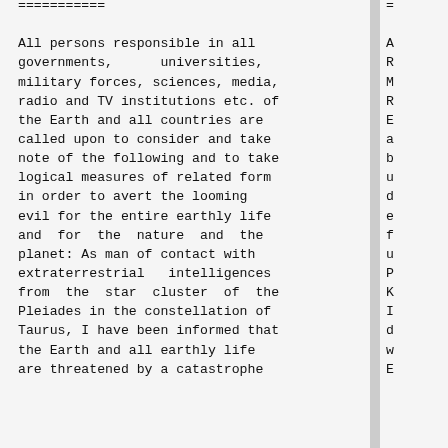===========

All persons responsible in all governments,      universities, military forces, sciences, media, radio and TV institutions etc. of the Earth and all countries are called upon to consider and take note of the following and to take logical measures of related form in order to avert the looming evil for the entire earthly life and for the nature and the planet: As man of contact with extraterrestrial   intelligences from the star cluster of the Pleiades in the constellation of Taurus, I have been informed that the Earth and all earthly life are threatened by a catastrophe
=

A
R
M
R
E
a
b
u
d
e
f
u
P
K
I
d
w
E